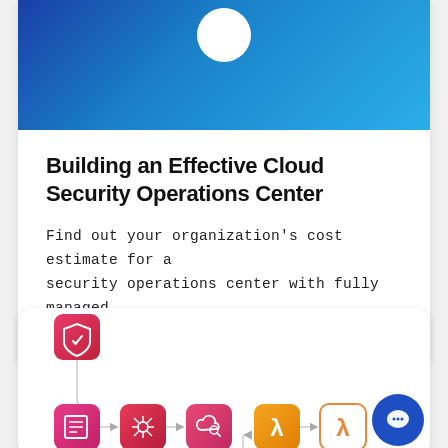[Figure (illustration): Top banner with blue gradient background and partial white circular logo at top center]
Building an Effective Cloud Security Operations Center
Find out your organization's cost estimate for a security operations center with fully managed detection and response services.
[Figure (flowchart): Flowchart showing security operations pipeline with icons: shield (red/pink), document list, hub/spokes, cloud search, lambda (orange), lambda outline, connected by arrows. A chat bubble button appears bottom right.]